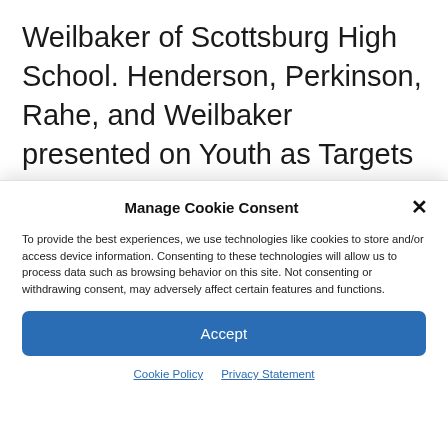Weilbaker of Scottsburg High School. Henderson, Perkinson, Rahe, and Weilbaker presented on Youth as Targets of the Alcohol and Tobacco Industries' Advertising. Their group participated in two separate sessions
Manage Cookie Consent
To provide the best experiences, we use technologies like cookies to store and/or access device information. Consenting to these technologies will allow us to process data such as browsing behavior on this site. Not consenting or withdrawing consent, may adversely affect certain features and functions.
Accept
Cookie Policy  Privacy Statement